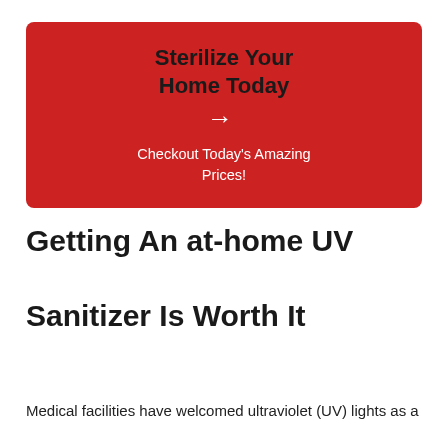[Figure (infographic): Red rounded rectangle banner with bold dark text 'Sterilize Your Home Today', white arrow pointing right, and white subtitle text 'Checkout Today's Amazing Prices!']
Getting An at-home UV Sanitizer Is Worth It
Medical facilities have welcomed ultraviolet (UV) lights as a